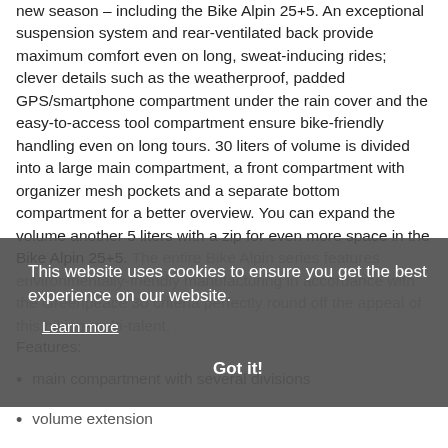new season – including the Bike Alpin 25+5. An exceptional suspension system and rear-ventilated back provide maximum comfort even on long, sweat-inducing rides; clever details such as the weatherproof, padded GPS/smartphone compartment under the rain cover and the easy-to-access tool compartment ensure bike-friendly handling even on long tours. 30 liters of volume is divided into a large main compartment, a front compartment with organizer mesh pockets and a separate bottom compartment for a better overview. You can expand the volume another 5 liters with a zip for even more space in the Bike Alpin 25+5. The entire Bike Alpin series features environmentally-friendly manufacturing in accordance with the Greenpeace 30 criteria perfectly round off the appeal of this biking-multi-talent.
[Figure (screenshot): Cookie consent overlay banner with text 'This website uses cookies to ensure you get the best experience on our website.' with a 'Learn more' link and a 'Got it!' button]
Features:
main compartment with several divisions
volume extension